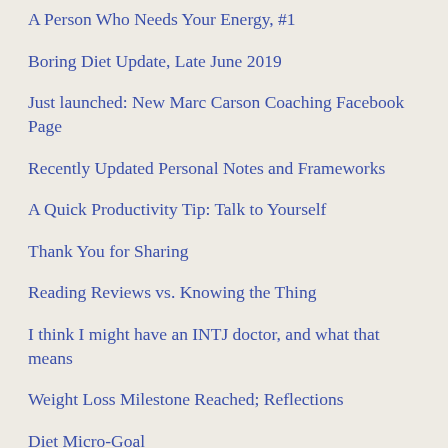A Person Who Needs Your Energy, #1
Boring Diet Update, Late June 2019
Just launched: New Marc Carson Coaching Facebook Page
Recently Updated Personal Notes and Frameworks
A Quick Productivity Tip: Talk to Yourself
Thank You for Sharing
Reading Reviews vs. Knowing the Thing
I think I might have an INTJ doctor, and what that means
Weight Loss Milestone Reached; Reflections
Diet Micro-Goal
The Oh F*** List: A Strategic Method for